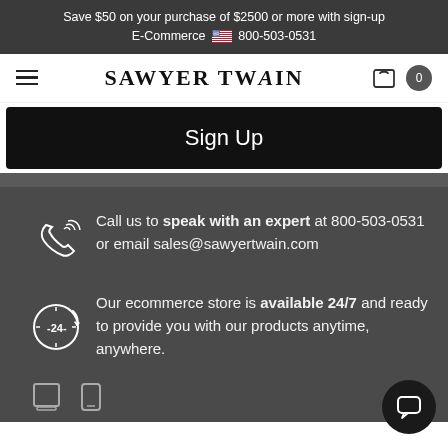Save $50 on your purchase of $2500 or more with sign-up E-Commerce 🇺🇸 800-503-0531
SAWYER TWAIN
Sign Up
Call us to speak with an expert at 800-503-0531 or email sales@sawyertwain.com
Our ecommerce store is available 24/7 and ready to provide you with our products anytime, anywhere.